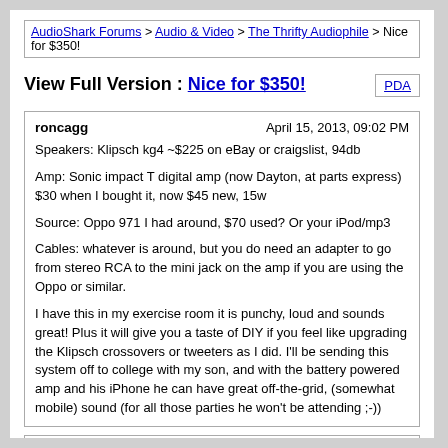AudioShark Forums > Audio & Video > The Thrifty Audiophile > Nice for $350!
View Full Version : Nice for $350!
roncagg
April 15, 2013, 09:02 PM

Speakers: Klipsch kg4 ~$225 on eBay or craigslist, 94db

Amp: Sonic impact T digital amp (now Dayton, at parts express) $30 when I bought it, now $45 new, 15w

Source: Oppo 971 I had around, $70 used? Or your iPod/mp3

Cables: whatever is around, but you do need an adapter to go from stereo RCA to the mini jack on the amp if you are using the Oppo or similar.

I have this in my exercise room it is punchy, loud and sounds great! Plus it will give you a taste of DIY if you feel like upgrading the Klipsch crossovers or tweeters as I did. I'll be sending this system off to college with my son, and with the battery powered amp and his iPhone he can have great off-the-grid, (somewhat mobile) sound (for all those parties he won't be attending ;-))
socfan12
April 18, 2013, 09:31 PM

Is this what you were telling me about at the show? Pretty cool!
roncagg
April 18, 2013, 10:06 PM

Hey Allen yes this is the one, which I used to practice soldering on when I redid the crossovers. A lot of fun! I play it fairly loudly when I'm using the trainer in the AM, to distract me from the pain. What speakers are you auditioning?